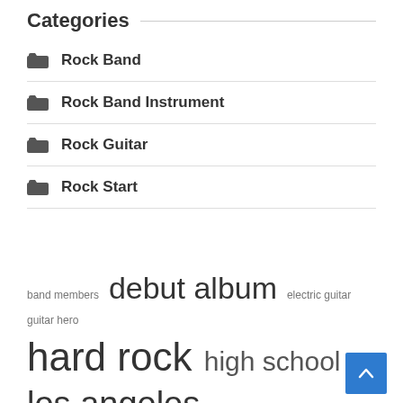Categories
Rock Band
Rock Band Instrument
Rock Guitar
Rock Start
band members  debut album  electric guitar  guitar hero  hard rock  high school  los angeles  music scene  playing guitar  rock bands  rock group  rock guitar  rock music  rock roll  united states